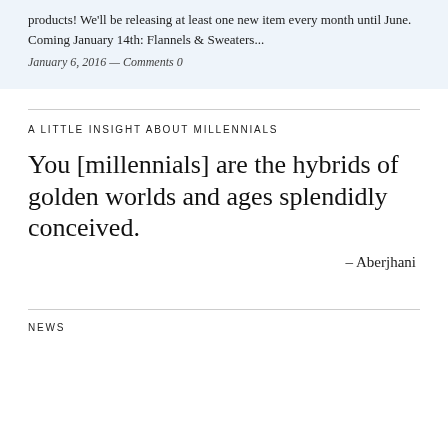products! We'll be releasing at least one new item every month until June. Coming January 14th: Flannels & Sweaters...
January 6, 2016 — Comments 0
A LITTLE INSIGHT ABOUT MILLENNIALS
You [millennials] are the hybrids of golden worlds and ages splendidly conceived.
– Aberjhani
NEWS